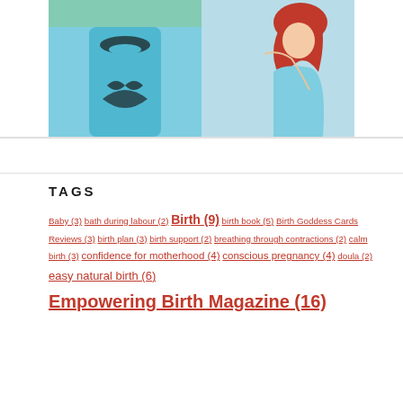[Figure (photo): Two images side by side: left shows a woman in a teal/turquoise long-sleeve dress with black ornamental print, right shows an illustration of a red-haired woman in blue dress looking down]
TAGS
Baby (3) bath during labour (2) Birth (9) birth book (5) Birth Goddess Cards Reviews (3) birth plan (3) birth support (2) breathing through contractions (2) calm birth (3) confidence for motherhood (4) conscious pregnancy (4) doula (2) easy natural birth (6) Empowering Birth Magazine (16)